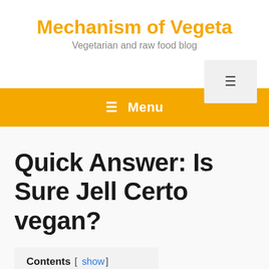Mechanism of Vegeta
Vegetarian and raw food blog
≡ Menu
Quick Answer: Is Sure Jell Certo vegan?
Contents [ show ]